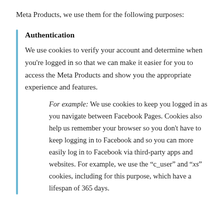Meta Products, we use them for the following purposes:
Authentication
We use cookies to verify your account and determine when you're logged in so that we can make it easier for you to access the Meta Products and show you the appropriate experience and features.
For example: We use cookies to keep you logged in as you navigate between Facebook Pages. Cookies also help us remember your browser so you don't have to keep logging in to Facebook and so you can more easily log in to Facebook via third-party apps and websites. For example, we use the “c_user” and “xs” cookies, including for this purpose, which have a lifespan of 365 days.